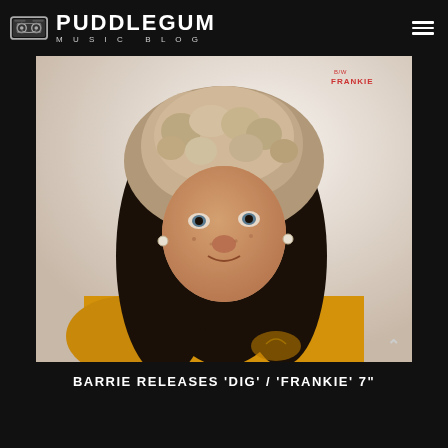PUDDLEGUM MUSIC BLOG
[Figure (photo): Album cover photo of a young woman wearing a large fur hat and a yellow sweatshirt, with long dark hair, looking towards the camera. Text 'FRANKIE' appears in red in the upper right corner of the image.]
BARRIE RELEASES 'DIG' / 'FRANKIE' 7"